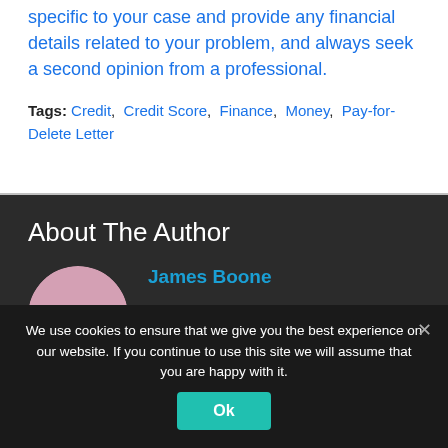specific to your case and provide any financial details related to your problem, and always seek a second opinion from a professional.
Tags: Credit, Credit Score, Finance, Money, Pay-for-Delete Letter
About The Author
James Boone
We use cookies to ensure that we give you the best experience on our website. If you continue to use this site we will assume that you are happy with it.